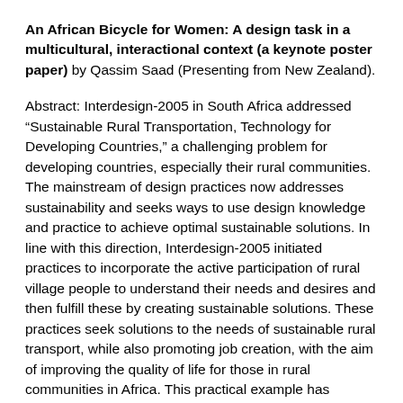An African Bicycle for Women: A design task in a multicultural, interactional context (a keynote poster paper) by Qassim Saad (Presenting from New Zealand).
Abstract: Interdesign-2005 in South Africa addressed “Sustainable Rural Transportation, Technology for Developing Countries,” a challenging problem for developing countries, especially their rural communities. The mainstream of design practices now addresses sustainability and seeks ways to use design knowledge and practice to achieve optimal sustainable solutions. In line with this direction, Interdesign-2005 initiated practices to incorporate the active participation of rural village people to understand their needs and desires and then fulfill these by creating sustainable solutions. These practices seek solutions to the needs of sustainable rural transport, while also promoting job creation, with the aim of improving the quality of life for those in rural communities in Africa. This practical example has continued to progress. In 2006 the new designs for vehicles were built and tested, the goal now is to construct the first workshop for production. This study examines these cooperative efforts between national and international designers in advancing this practical example, demonstrating the role of design and cultural practices in sustainable development. It is also a reflection on how my involvement in this context has contributed to my practice as a designer and